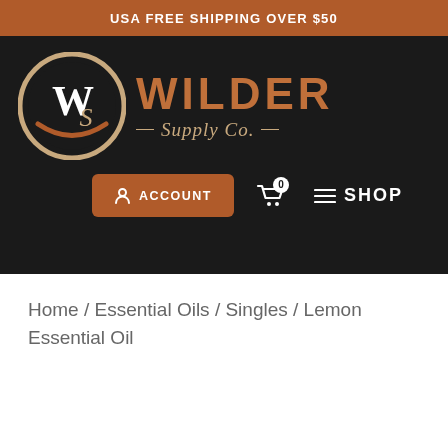USA FREE SHIPPING OVER $50
[Figure (logo): Wilder Supply Co. logo with circular WS monogram badge and brand name in copper/brown tones on dark background]
Home / Essential Oils / Singles / Lemon Essential Oil